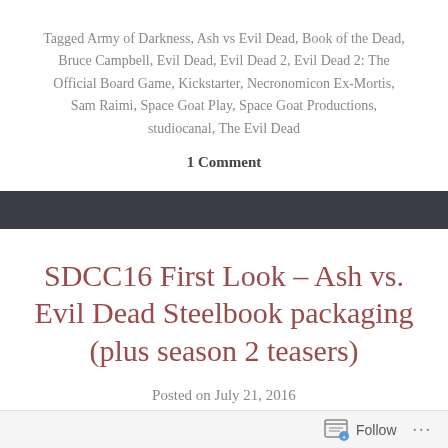Tagged Army of Darkness, Ash vs Evil Dead, Book of the Dead, Bruce Campbell, Evil Dead, Evil Dead 2, Evil Dead 2: The Official Board Game, Kickstarter, Necronomicon Ex-Mortis, Sam Raimi, Space Goat Play, Space Goat Productions, studiocanal, The Evil Dead
1 Comment
SDCC16 First Look – Ash vs. Evil Dead Steelbook packaging (plus season 2 teasers)
Posted on July 21, 2016